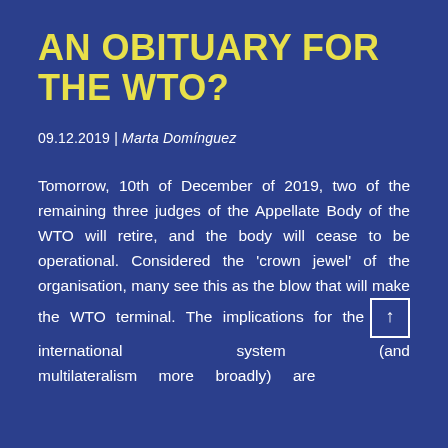AN OBITUARY FOR THE WTO?
09.12.2019 | Marta Domínguez
Tomorrow, 10th of December of 2019, two of the remaining three judges of the Appellate Body of the WTO will retire, and the body will cease to be operational. Considered the 'crown jewel' of the organisation, many see this as the blow that will make the WTO terminal. The implications for the international system (and multilateralism more broadly) are